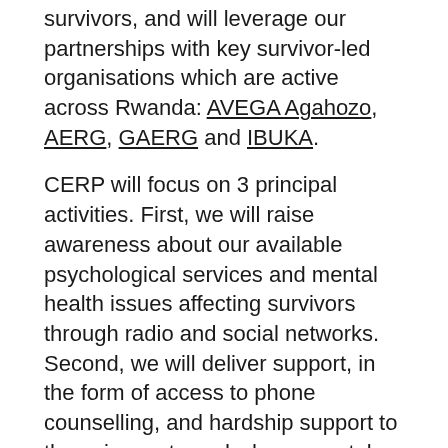survivors, and will leverage our partnerships with key survivor-led organisations which are active across Rwanda: AVEGA Agahozo, AERG, GAERG and IBUKA.
CERP will focus on 3 principal activities. First, we will raise awareness about our available psychological services and mental health issues affecting survivors through radio and social networks. Second, we will deliver support, in the form of access to phone counselling, and hardship support to those in most need whose mental health condition is affected by the lockdown and commemoration. Third, we plan to monitor and learn from the work as it is conducted to continuously adapt and strengthen the delivery of it.
We have set up and are now operating more toll-free lines to supplement our still ongoing AERG Legal and Counselling Helpline, which are operated by a team of professional Counsellors, coordinated by SURF's